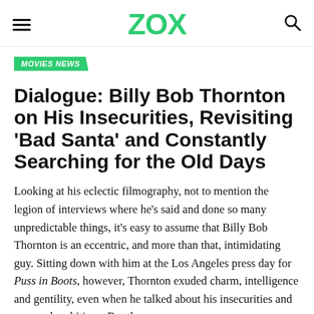ZOX
MOVIES NEWS
Dialogue: Billy Bob Thornton on His Insecurities, Revisiting 'Bad Santa' and Constantly Searching for the Old Days
Looking at his eclectic filmography, not to mention the legion of interviews where he's said and done so many unpredictable things, it's easy to assume that Billy Bob Thornton is an eccentric, and more than that, intimidating guy. Sitting down with him at the Los Angeles press day for Puss in Boots, however, Thornton exuded charm, intelligence and gentility, even when he talked about his insecurities and personal ambitions. But the remaining of the interview was of course probably all...